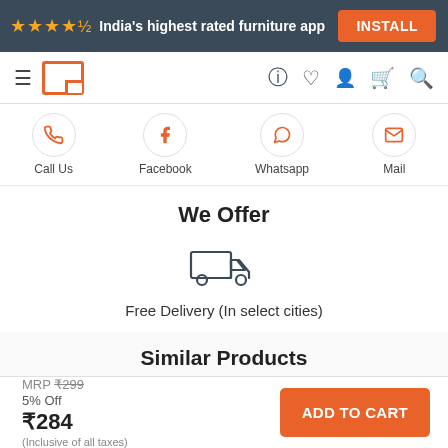★★★★½ India's highest rated furniture app  INSTALL
[Figure (screenshot): Navigation bar with hamburger menu, logo, and icons for help, wishlist, account, cart, search]
[Figure (infographic): Contact options: Call Us, Facebook, Whatsapp, Mail with circular orange icons]
We Offer
[Figure (illustration): Delivery truck icon]
Free Delivery (In select cities)
Similar Products
MRP ₹299
5% Off
₹284
(Inclusive of all taxes)
ADD TO CART